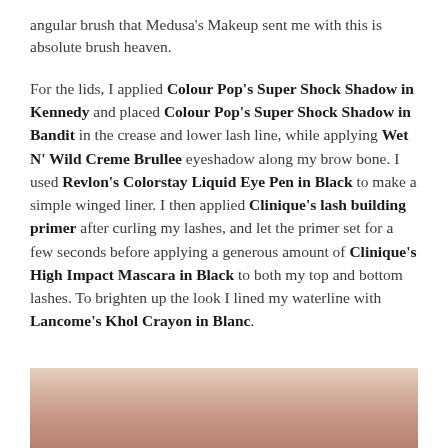angular brush that Medusa's Makeup sent me with this is absolute brush heaven.
For the lids, I applied Colour Pop's Super Shock Shadow in Kennedy and placed Colour Pop's Super Shock Shadow in Bandit in the crease and lower lash line, while applying Wet N' Wild Creme Brullee eyeshadow along my brow bone. I used Revlon's Colorstay Liquid Eye Pen in Black to make a simple winged liner. I then applied Clinique's lash building primer after curling my lashes, and let the primer set for a few seconds before applying a generous amount of Clinique's High Impact Mascara in Black to both my top and bottom lashes. To brighten up the look I lined my waterline with Lancome's Khol Crayon in Blanc.
[Figure (photo): Close-up photo of lips/makeup, partially cropped at bottom of page, showing skin tones and a pinkish-red lip color]